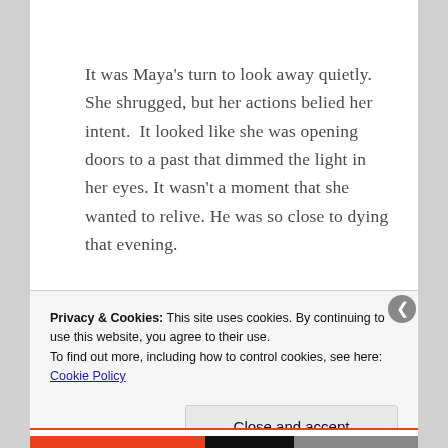It was Maya's turn to look away quietly. She shrugged, but her actions belied her intent.  It looked like she was opening doors to a past that dimmed the light in her eyes. It wasn't a moment that she wanted to relive. He was so close to dying that evening.
Privacy & Cookies: This site uses cookies. By continuing to use this website, you agree to their use.
To find out more, including how to control cookies, see here: Cookie Policy
Close and accept